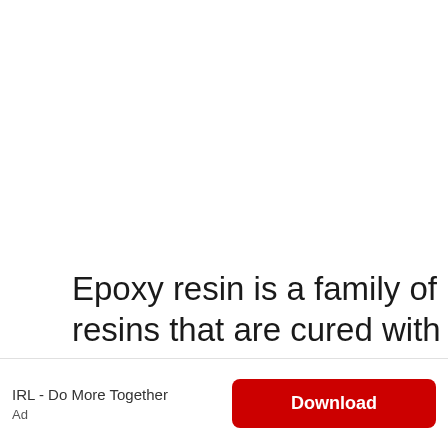Epoxy resin is a family of resins that are cured with epoxy groups (a molecule containing an epoxy group). Epoxy groups are reactive and form crosslinks between molecules during curing, resulting in high-
IRL - Do More Together
Ad
Download